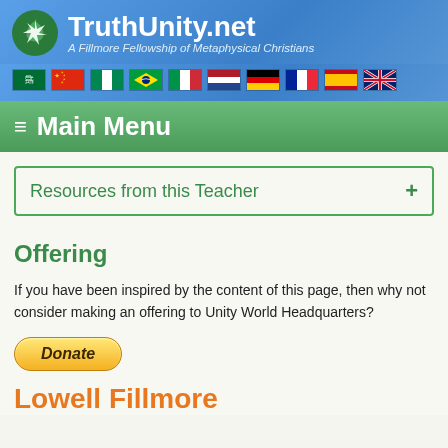TruthUnity.net — A Fillmore Fellowship of Metaphysical Christians
[Figure (screenshot): Row of country flag icons: Saudi Arabia, China, Nigeria, Brazil, Italy, Netherlands, Germany, France, Spain, United Kingdom]
≡ Main Menu
Resources from this Teacher +
Offering
If you have been inspired by the content of this page, then why not consider making an offering to Unity World Headquarters?
[Figure (other): PayPal Donate button — yellow rounded rectangle with italic bold text 'Donate']
Lowell Fillmore